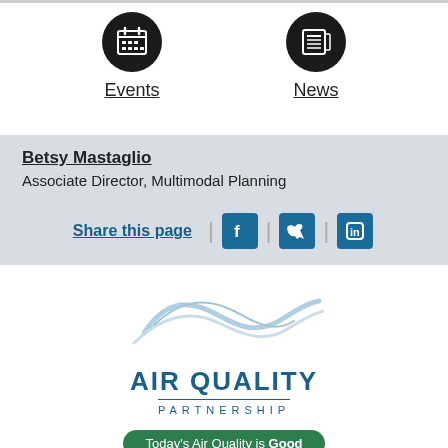[Figure (illustration): Calendar icon (black circle with calendar grid symbol)]
Events
[Figure (illustration): News icon (black circle with newspaper symbol)]
News
Betsy Mastaglio
Associate Director, Multimodal Planning
Share this page
[Figure (logo): Air Quality Partnership logo with wave graphic and Today's Air Quality is Good badge]